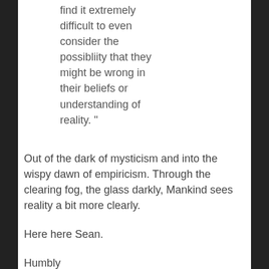find it extremely difficult to even consider the possibliity that they might be wrong in their beliefs or understanding of reality. "
Out of the dark of mysticism and into the wispy dawn of empiricism. Through the clearing fog, the glass darkly, Mankind sees reality a bit more clearly.
Here here Sean.
Humbly
your agnostic friend
Ken
(Quote)